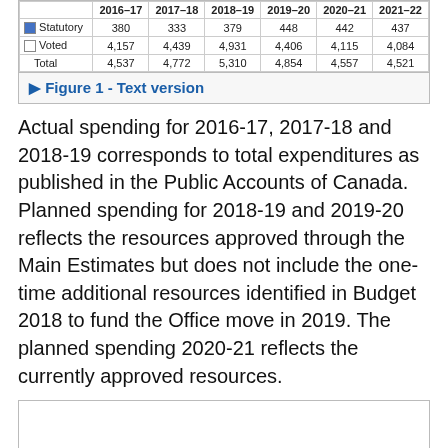|  | 2016–17 | 2017–18 | 2018–19 | 2019–20 | 2020–21 | 2021–22 |
| --- | --- | --- | --- | --- | --- | --- |
| Statutory | 380 | 333 | 379 | 448 | 442 | 437 |
| Voted | 4,157 | 4,439 | 4,931 | 4,406 | 4,115 | 4,084 |
| Total | 4,537 | 4,772 | 5,310 | 4,854 | 4,557 | 4,521 |
Figure 1 - Text version
Actual spending for 2016-17, 2017-18 and 2018-19 corresponds to total expenditures as published in the Public Accounts of Canada. Planned spending for 2018-19 and 2019-20 reflects the resources approved through the Main Estimates but does not include the one-time additional resources identified in Budget 2018 to fund the Office move in 2019. The planned spending 2020-21 reflects the currently approved resources.